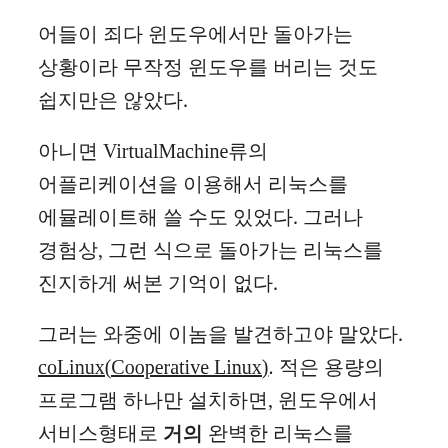어들이 죄다 윈도우에서만 돌아가는 상황이라 무작정 윈도우를 버리는 것도 쉽지만은 않았다.
아니면 VirtualMachine류의 어플리케이션을 이용해서 리눅스를 에뮬레이트해 쓸 수도 있었다. 그러나 경험상, 그런 식으로 돌아가는 리눅스를 진지하게 써본 기억이 없다.
그러는 와중에 이놈을 발견하고야 말았다. coLinux(Cooperative Linux). 적은 용량의 프로그램 하나만 설치하면, 윈도우에서 서비스형태로 거의 완벽한 리눅스를 체험해 볼 수 있다. 물론 하드웨어 지원이나, X시스템의 부재 등의 단점이 존재한다. 차지하는 자원도 굉장히 적고 실행해 본 결과 colinux-daemon과 네트워크